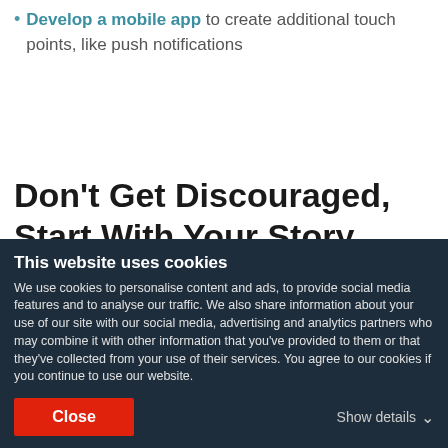Develop a mobile app to create additional touch points, like push notifications
Don't Get Discouraged, Start With Your Story
Defining your brand and creating a company culture that...
This website uses cookies
We use cookies to personalise content and ads, to provide social media features and to analyse our traffic. We also share information about your use of our site with our social media, advertising and analytics partners who may combine it with other information that you've provided to them or that they've collected from your use of their services. You agree to our cookies if you continue to use our website.